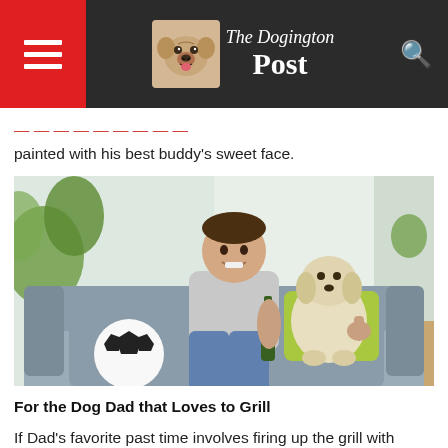The Dogington Post
painted with his best buddy's sweet face.
[Figure (photo): A young man sitting on a grey sofa holding a green beer bottle and giving a thumbs up gesture, with a white Labrador puppy beside him and a soccer ball on the left. A green throw pillow is on the couch behind the dog. Plants and curtains visible in background.]
For the Dog Dad that Loves to Grill
If Dad's favorite past time involves firing up the grill with